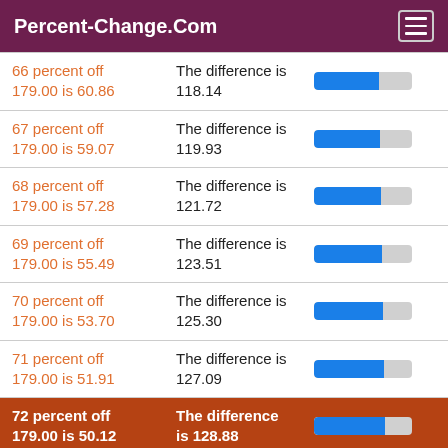Percent-Change.Com
66 percent off 179.00 is 60.86 | The difference is 118.14
67 percent off 179.00 is 59.07 | The difference is 119.93
68 percent off 179.00 is 57.28 | The difference is 121.72
69 percent off 179.00 is 55.49 | The difference is 123.51
70 percent off 179.00 is 53.70 | The difference is 125.30
71 percent off 179.00 is 51.91 | The difference is 127.09
72 percent off 179.00 is 50.12 | The difference is 128.88